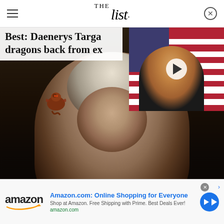THE List
Best: Daenerys Targa dragons back from ex
[Figure (photo): Daenerys Targaryen (Emilia Clarke) from Game of Thrones with a small dragon on her shoulder, HBO promotional image; inset video thumbnail of Donald Trump with play button overlay]
HBO
[Figure (infographic): Amazon advertisement banner: Amazon logo on left, headline 'Amazon.com: Online Shopping for Everyone', subtext 'Shop at Amazon. Free Shipping with Prime. Best Deals Ever!', url 'amazon.com', blue arrow button on right]